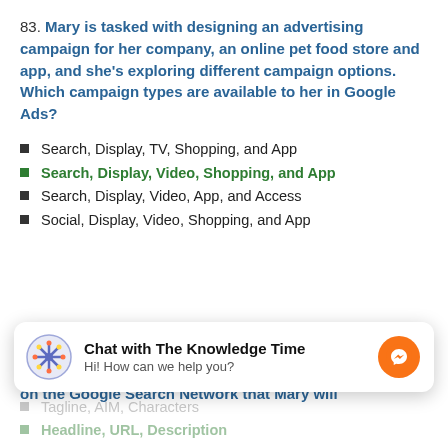83. Mary is tasked with designing an advertising campaign for her company, an online pet food store and app, and she's exploring different campaign options. Which campaign types are available to her in Google Ads?
Search, Display, TV, Shopping, and App
Search, Display, Video, Shopping, and App
Search, Display, Video, App, and Access
Social, Display, Video, Shopping, and App
84. Mary wants to run a text ad on the Google Search Network. She's new to text ads and needs to start with the basics. What are the three components of a text ad on the Google Search Network that Mary will
[Figure (other): Chat widget overlay: 'Chat with The Knowledge Time' with brain icon and Messenger button in orange]
Tagline, AIM, Characters
Headline, URL, Description